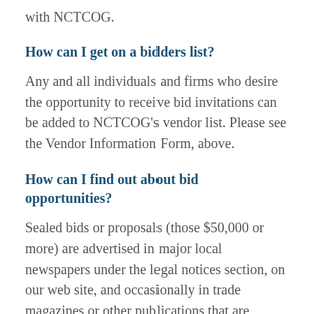with NCTCOG.
How can I get on a bidders list?
Any and all individuals and firms who desire the opportunity to receive bid invitations can be added to NCTCOG's vendor list. Please see the Vendor Information Form, above.
How can I find out about bid opportunities?
Sealed bids or proposals (those $50,000 or more) are advertised in major local newspapers under the legal notices section, on our web site, and occasionally in trade magazines or other publications that are specific to the particular